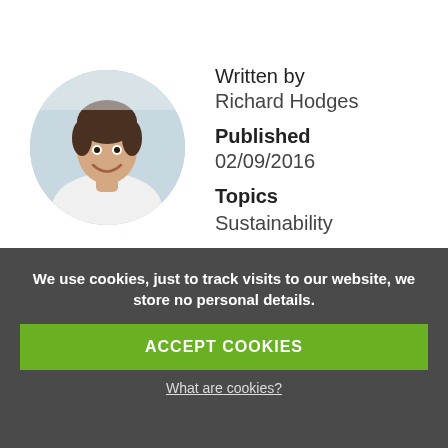[Figure (photo): Circular profile photo of Richard Hodges, a young man with dark curly hair, smiling, wearing a white shirt, in an office environment]
Written by
Richard Hodges
Published
02/09/2016
Topics
Sustainability
Share Article
We use cookies, just to track visits to our website, we store no personal details.
ACCEPT COOKIES
What are cookies?